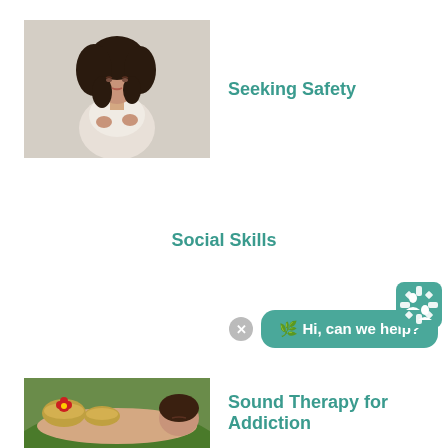[Figure (photo): Young woman with curly dark hair, eyes closed, wearing white lace top, posed against light background]
Seeking Safety
Social Skills
[Figure (infographic): Chat widget with snowflake/cross logo icon and teal speech bubble saying 'Hi, can we help?']
[Figure (photo): Person lying down receiving sound therapy with singing bowls, one bowl has a red flower]
Sound Therapy for Addiction